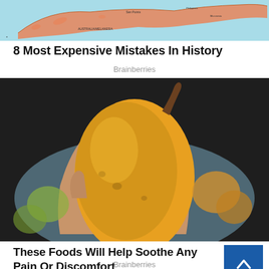[Figure (map): Map showing Alaska and surrounding region with orange landmass and light blue ocean background]
8 Most Expensive Mistakes In History
Brainberries
[Figure (photo): A hand holding a large yellow-orange mango or papaya fruit over a bowl of similar fruits]
These Foods Will Help Soothe Any Pain Or Discomfort
Brainberries